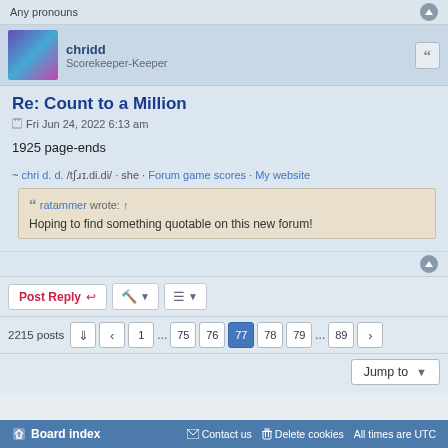Any pronouns
chridd
Scorekeeper-Keeper
Re: Count to a Million
Fri Jun 24, 2022 6:13 am
1925 page-ends
~ chri d. d. /tʃɹɪ.di.di/ · she · Forum game scores · My website
ratammer wrote: ↑
Hoping to find something quotable on this new forum!
Post Reply
2215 posts  1 ... 75 76 77 78 79 ... 89
Jump to
Board index   Contact us   Delete cookies   All times are UTC